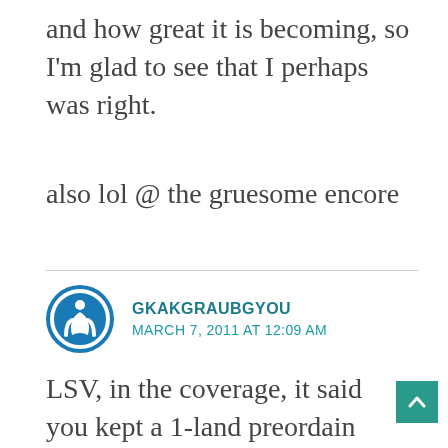and how great it is becoming, so I'm glad to see that I perhaps was right.
also lol @ the gruesome encore
GKAKGRAUBGYOU
MARCH 7, 2011 AT 12:09 AM
LSV, in the coverage, it said you kept a 1-land preordain hand, but when u preordained, u saw 2 lands, and scryed BOTH of them to the bottom? why not just